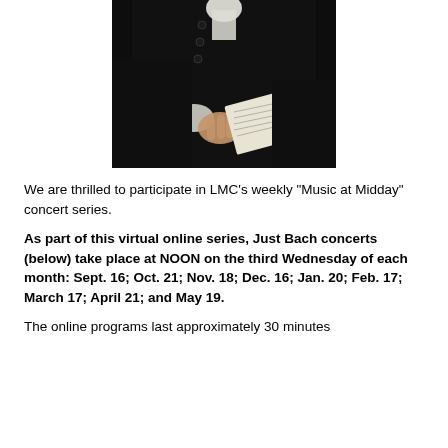[Figure (photo): Dark classical painting showing a figure in dark coat with white ruffled collar/cravat, holding a piece of sheet music in hand]
We are thrilled to participate in LMC’s weekly “Music at Midday” concert series.
As part of this virtual online series, Just Bach concerts (below) take place at NOON on the third Wednesday of each month: Sept. 16; Oct. 21; Nov. 18; Dec. 16; Jan. 20; Feb. 17; March 17; April 21; and May 19.
The online programs last approximately 30 minutes